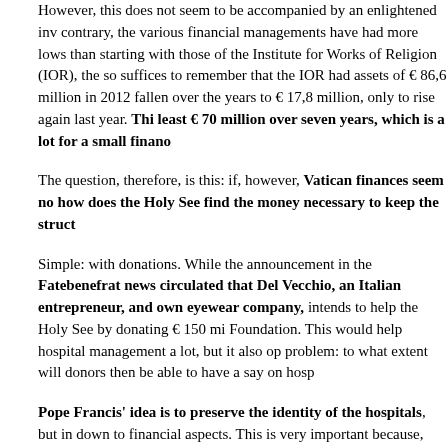However, this does not seem to be accompanied by an enlightened inv contrary, the various financial managements have had more lows than starting with those of the Institute for Works of Religion (IOR), the so suffices to remember that the IOR had assets of € 86,6 million in 2012 fallen over the years to € 17,8 million, only to rise again last year. This least € 70 million over seven years, which is a lot for a small financ
The question, therefore, is this: if, however, Vatican finances seem no how does the Holy See find the money necessary to keep the struct
Simple: with donations. While the announcement in the Fatebenefrat news circulated that Del Vecchio, an Italian entrepreneur, and own eyewear company, intends to help the Holy See by donating € 150 mi Foundation. This would help hospital management a lot, but it also op problem: to what extent will donors then be able to have a say on hosp
Pope Francis' idea is to preserve the identity of the hospitals, but in down to financial aspects. This is very important because, without mo maintained. However, the real problem is that of having virtuous organ to keep their Catholic identity.